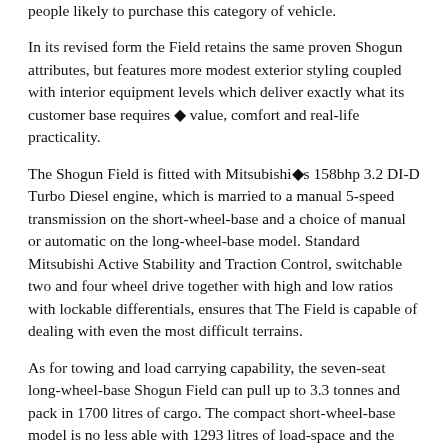people likely to purchase this category of vehicle.
In its revised form the Field retains the same proven Shogun attributes, but features more modest exterior styling coupled with interior equipment levels which deliver exactly what its customer base requires ◆ value, comfort and real-life practicality.
The Shogun Field is fitted with Mitsubishi◆s 158bhp 3.2 DI-D Turbo Diesel engine, which is married to a manual 5-speed transmission on the short-wheel-base and a choice of manual or automatic on the long-wheel-base model. Standard Mitsubishi Active Stability and Traction Control, switchable two and four wheel drive together with high and low ratios with lockable differentials, ensures that The Field is capable of dealing with even the most difficult terrains.
As for towing and load carrying capability, the seven-seat long-wheel-base Shogun Field can pull up to 3.3 tonnes and pack in 1700 litres of cargo. The compact short-wheel-base model is no less able with 1293 litres of load-space and the ability to tow 2.8 tonnes.
Although its equipment level is specified for a purpose the inside of the Shogun Field is still a comfortable place to be,